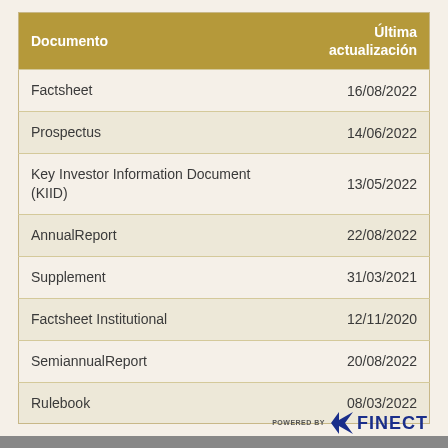| Documento | Última actualización |
| --- | --- |
| Factsheet | 16/08/2022 |
| Prospectus | 14/06/2022 |
| Key Investor Information Document (KIID) | 13/05/2022 |
| AnnualReport | 22/08/2022 |
| Supplement | 31/03/2021 |
| Factsheet Institutional | 12/11/2020 |
| SemiannualReport | 20/08/2022 |
| Rulebook | 08/03/2022 |
[Figure (logo): Powered by FINECT logo in bottom right corner]